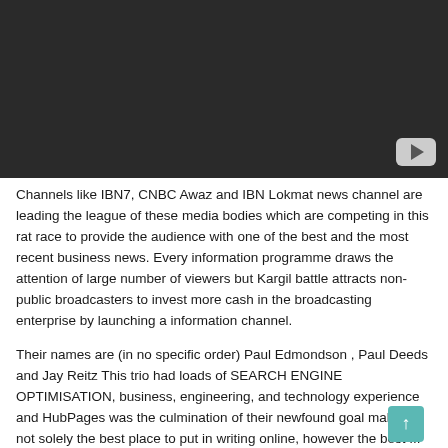[Figure (screenshot): Dark video player with YouTube play button in bottom-right corner]
Channels like IBN7, CNBC Awaz and IBN Lokmat news channel are leading the league of these media bodies which are competing in this rat race to provide the audience with one of the best and the most recent business news. Every information programme draws the attention of large number of viewers but Kargil battle attracts non-public broadcasters to invest more cash in the broadcasting enterprise by launching a information channel.
Their names are (in no specific order) Paul Edmondson , Paul Deeds and Jay Reitz This trio had loads of SEARCH ENGINE OPTIMISATION, business, engineering, and technology experience and HubPages was the culmination of their newfound goal making not solely the best place to put in writing online, however the best ...